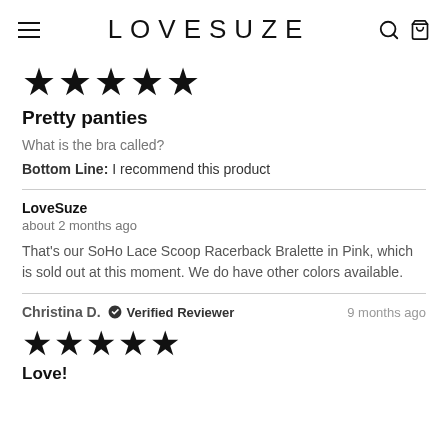LOVESUZE
★★★★★
Pretty panties
What is the bra called?
Bottom Line: I recommend this product
LoveSuze
about 2 months ago
That's our SoHo Lace Scoop Racerback Bralette in Pink, which is sold out at this moment. We do have other colors available.
Christina D. ✔ Verified Reviewer   9 months ago
★★★★★
Love!